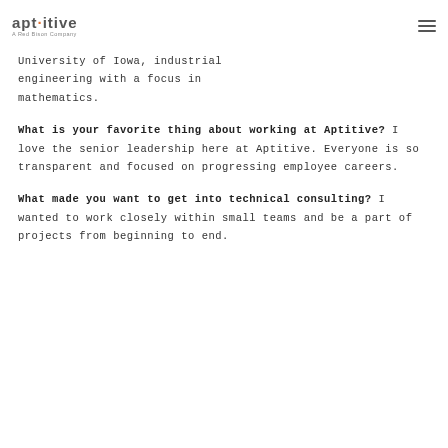[Figure (logo): Aptitive logo with tagline 'A Red Bison Company' and hamburger menu icon]
University of Iowa, industrial engineering with a focus in mathematics.
What is your favorite thing about working at Aptitive? I love the senior leadership here at Aptitive. Everyone is so transparent and focused on progressing employee careers.
What made you want to get into technical consulting? I wanted to work closely within small teams and be a part of projects from beginning to end.